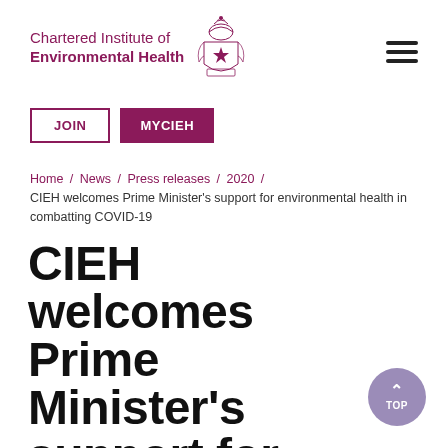[Figure (logo): Chartered Institute of Environmental Health logo with crest]
JOIN | MYCIEH
Home / News / Press releases / 2020 / CIEH welcomes Prime Minister's support for environmental health in combatting COVID-19
CIEH welcomes Prime Minister's support for